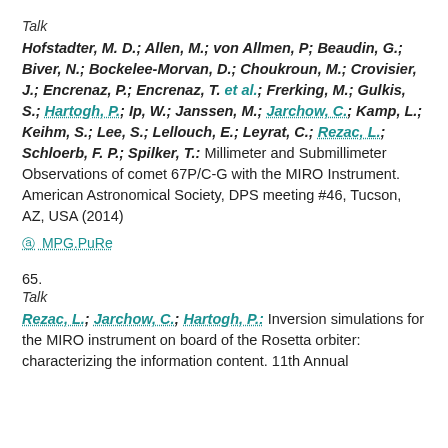Talk
Hofstadter, M. D.; Allen, M.; von Allmen, P; Beaudin, G.; Biver, N.; Bockelee-Morvan, D.; Choukroun, M.; Crovisier, J.; Encrenaz, P.; Encrenaz, T. et al.; Frerking, M.; Gulkis, S.; Hartogh, P.; Ip, W.; Janssen, M.; Jarchow, C.; Kamp, L.; Keihm, S.; Lee, S.; Lellouch, E.; Leyrat, C.; Rezac, L.; Schloerb, F. P.; Spilker, T.: Millimeter and Submillimeter Observations of comet 67P/C-G with the MIRO Instrument. American Astronomical Society, DPS meeting #46, Tucson, AZ, USA (2014)
MPG.PuRe
65.
Talk
Rezac, L.; Jarchow, C.; Hartogh, P.: Inversion simulations for the MIRO instrument on board of the Rosetta orbiter: characterizing the information content. 11th Annual